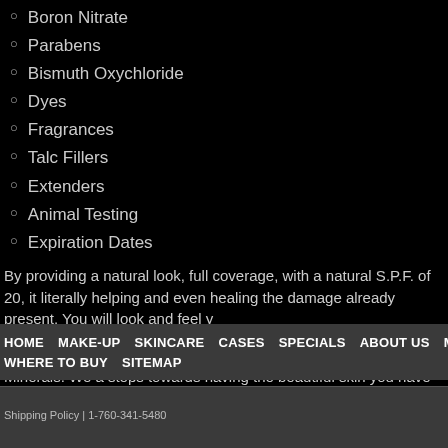Boron Nitrate
Parabens
Bismuth Oxychloride
Dyes
Fragrances
Talc Fillers
Extenders
Animal Testing
Expiration Dates
By providing a natural look, full coverage, with a natural S.P.F. of 20, it literally helping and even healing the damage already present. You will look and feel y
We want to take this opportunity to welcome all of you to COR Minerals. We a steps towards having the beautiful skin you have always desired. If you have a please click here to contact us.
HOME  MAKE-UP  SKINCARE  CASES  SPECIALS  ABOUT US  MAKEUP TIPS  WHOL WHERE TO BUY  SITEMAP
Shipping Policy | 1-760-341-5480